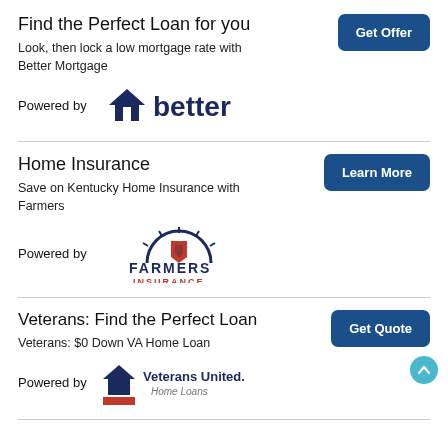Find the Perfect Loan for you
Look, then lock a low mortgage rate with Better Mortgage
[Figure (logo): Better mortgage logo - house icon with 'better' text in dark navy]
Home Insurance
Save on Kentucky Home Insurance with Farmers
[Figure (logo): Farmers Insurance logo - circular emblem with shield and FARMERS INSURANCE text]
Veterans: Find the Perfect Loan
Veterans: $0 Down VA Home Loan
[Figure (logo): Veterans United Home Loans logo - house icon with American flag stripes and Veterans United Home Loans text]